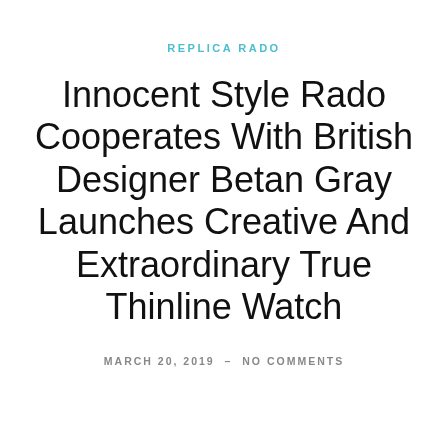REPLICA RADO
Innocent Style Rado Cooperates With British Designer Betan Gray Launches Creative And Extraordinary True Thinline Watch
MARCH 20, 2019  –  NO COMMENTS